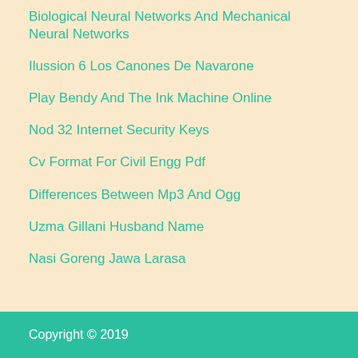Biological Neural Networks And Mechanical Neural Networks
Ilussion 6 Los Canones De Navarone
Play Bendy And The Ink Machine Online
Nod 32 Internet Security Keys
Cv Format For Civil Engg Pdf
Differences Between Mp3 And Ogg
Uzma Gillani Husband Name
Nasi Goreng Jawa Larasa
Copyright © 2019